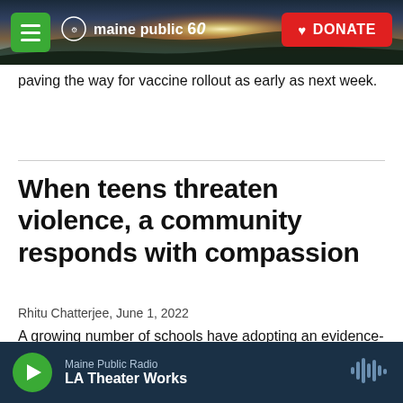[Figure (screenshot): Maine Public website header with sunset/landscape photo background. Green menu button on left, Maine Public 60th anniversary logo in center-left, red DONATE button on right.]
paving the way for vaccine rollout as early as next week.
When teens threaten violence, a community responds with compassion
Rhitu Chatterjee, June 1, 2022
A growing number of schools have adopting an evidence-based approach to preventing violence on their campuses. The plan recognizes that a student contemplating violence is a student in crisis.
[Figure (screenshot): Maine Public Radio audio player bar at bottom. Green play button, text 'Maine Public Radio / LA Theater Works', waveform icon on right.]